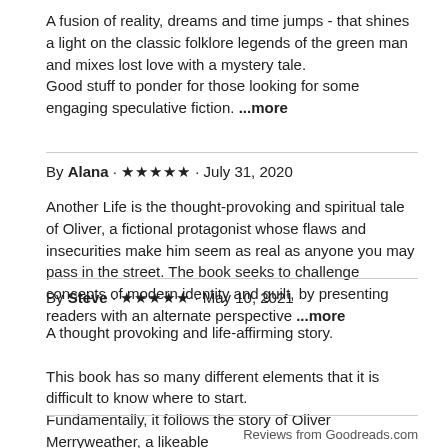A fusion of reality, dreams and time jumps - that shines a light on the classic folklore legends of the green man and mixes lost love with a mystery tale.
Good stuff to ponder for those looking for some engaging speculative fiction. ...more
By Alana · ★★★★★ · July 31, 2020
Another Life is the thought-provoking and spiritual tale of Oliver, a fictional protagonist whose flaws and insecurities make him seem as real as anyone you may pass in the street. The book seeks to challenge concepts of modern identity and guilt, by presenting readers with an alternate perspective ...more
By Steve · ★★★★★ · May 10, 2021
A thought provoking and life-affirming story.

This book has so many different elements that it is difficult to know where to start.
Fundamentally, it follows the story of Oliver Merryweather, a likeable
Reviews from Goodreads.com